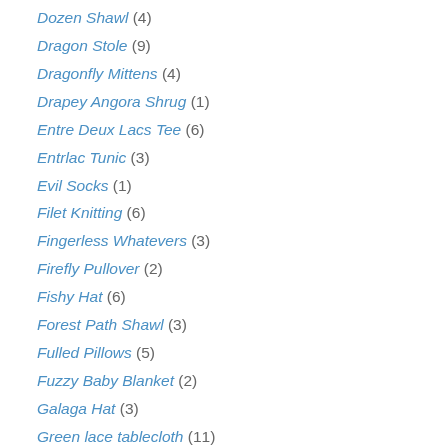Dozen Shawl (4)
Dragon Stole (9)
Dragonfly Mittens (4)
Drapey Angora Shrug (1)
Entre Deux Lacs Tee (6)
Entrlac Tunic (3)
Evil Socks (1)
Filet Knitting (6)
Fingerless Whatevers (3)
Firefly Pullover (2)
Fishy Hat (6)
Forest Path Shawl (3)
Fulled Pillows (5)
Fuzzy Baby Blanket (2)
Galaga Hat (3)
Green lace tablecloth (11)
Horizontal Stripe Baby Blanket (2)
Justin's Counterpane (1)
Khaki Vest (7)
Klein Bottle Hat (4)